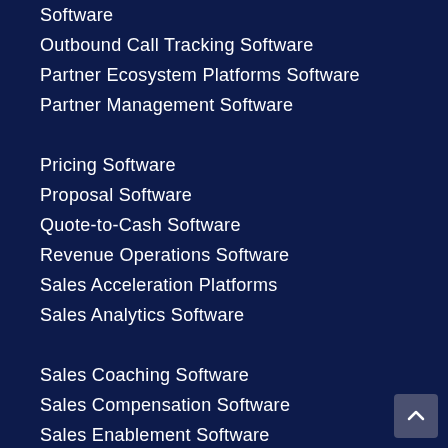Software
Outbound Call Tracking Software
Partner Ecosystem Platforms Software
Partner Management Software
Pricing Software
Proposal Software
Quote-to-Cash Software
Revenue Operations Software
Sales Acceleration Platforms
Sales Analytics Software
Sales Coaching Software
Sales Compensation Software
Sales Enablement Software
Sales Engagement Software
Sales Gamification Software